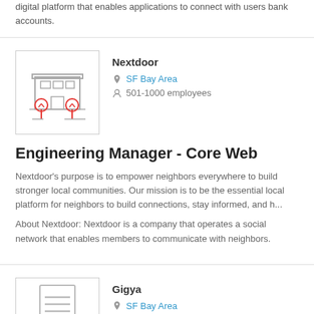digital platform that enables applications to connect with users bank accounts.
[Figure (illustration): Building/office illustration with red pin tree icons in front, inside a bordered box]
Nextdoor
SF Bay Area
501-1000 employees
Engineering Manager - Core Web
Nextdoor's purpose is to empower neighbors everywhere to build stronger local communities. Our mission is to be the essential local platform for neighbors to build connections, stay informed, and h...
About Nextdoor: Nextdoor is a company that operates a social network that enables members to communicate with neighbors.
[Figure (illustration): Document/report icon illustration inside a bordered box]
Gigya
SF Bay Area